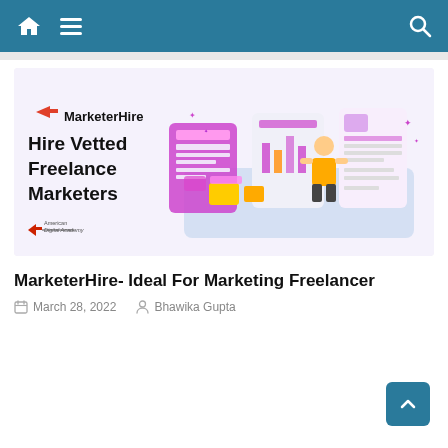Navigation bar with home, menu and search icons
[Figure (illustration): MarketerHire promotional image showing 'Hire Vetted Freelance Marketers' text with digital marketing interface graphics and figures, along with American Digital Academy logo]
MarketerHire- Ideal For Marketing Freelancer
March 28, 2022   Bhawika Gupta